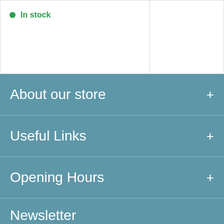In stock
About our store
Useful Links
Opening Hours
Newsletter
A short sentence describing what someone will receive by subscribing